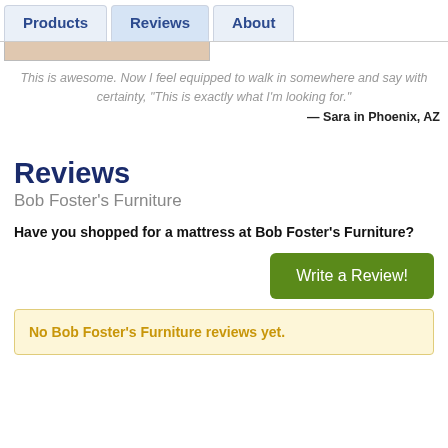Products | Reviews | About
This is awesome. Now I feel equipped to walk in somewhere and say with certainty, "This is exactly what I'm looking for." — Sara in Phoenix, AZ
Reviews
Bob Foster's Furniture
Have you shopped for a mattress at Bob Foster's Furniture?
Write a Review!
No Bob Foster's Furniture reviews yet.